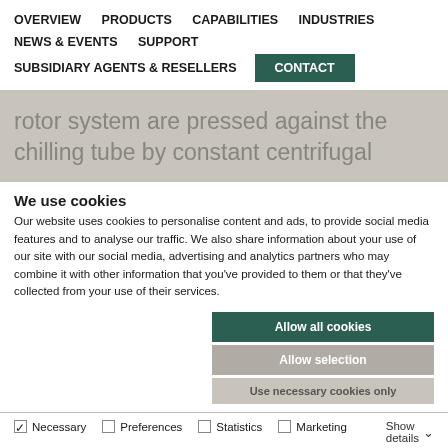OVERVIEW  PRODUCTS  CAPABILITIES  INDUSTRIES  NEWS & EVENTS  SUPPORT  SUBSIDIARY AGENTS & RESELLERS  CONTACT
rotor system are pressed against the chilling tube by constant centrifugal
We use cookies
Our website uses cookies to personalise content and ads, to provide social media features and to analyse our traffic. We also share information about your use of our site with our social media, advertising and analytics partners who may combine it with other information that you've provided to them or that they've collected from your use of their services.
Allow all cookies
Allow selection
Use necessary cookies only
Necessary  Preferences  Statistics  Marketing  Show details